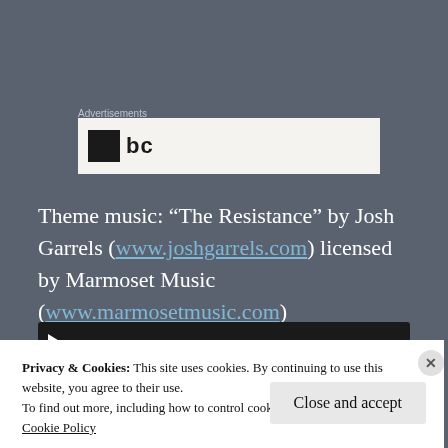Advertisements
[Figure (screenshot): Advertisements box with a dark icon and partial text 'bc' visible on a light background]
Theme music: “The Resistance” by Josh Garrels (www.joshgarrels.com) licensed by Marmoset Music (www.marmosetmusic.com)
[Figure (screenshot): Audio player bar with play button, time stamps 00:00 on both sides, and a progress bar on dark background]
Privacy & Cookies: This site uses cookies. By continuing to use this website, you agree to their use.
To find out more, including how to control cookies, see here:
Cookie Policy
Close and accept